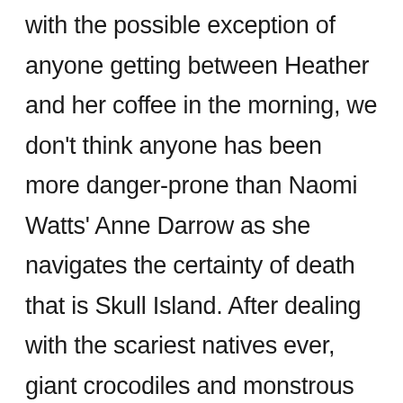with the possible exception of anyone getting between Heather and her coffee in the morning, we don't think anyone has been more danger-prone than Naomi Watts' Anne Darrow as she navigates the certainty of death that is Skull Island. After dealing with the scariest natives ever, giant crocodiles and monstrous insects, she's forced to contend with three tyrannosaurs that are apparently not that hungry but looking for something to tide them over until they can make it to Denny's for the Moons Over My Hammy. Luckily, Anne has a clingy stalker in the form of a two ton, thirty foot tall gorilla who kills T-rexes like it ain't no thing. Kong knocks